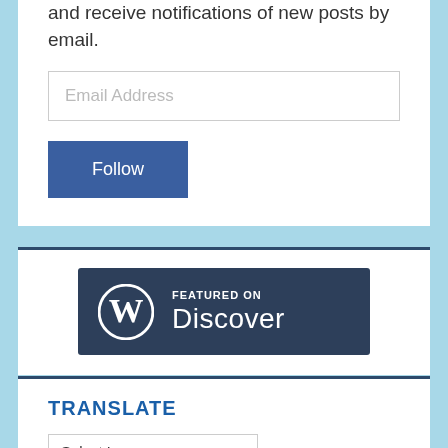and receive notifications of new posts by email.
Email Address
Follow
[Figure (logo): WordPress 'Featured on Discover' badge — dark navy rectangle with WordPress logo (W in circle) on left, text 'FEATURED ON' in small caps above 'Discover' in large light font on right]
TRANSLATE
Select Language